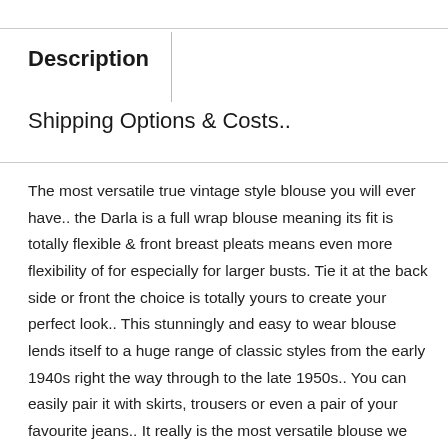Description
Shipping Options & Costs..
The most versatile true vintage style blouse you will ever have.. the Darla is a full wrap blouse meaning its fit is totally flexible & front breast pleats means even more flexibility of for especially for larger busts. Tie it at the back side or front the choice is totally yours to create your perfect look.. This stunningly and easy to wear blouse lends itself to a huge range of classic styles from the early 1940s right the way through to the late 1950s.. You can easily pair it with skirts, trousers or even a pair of your favourite jeans.. It really is the most versatile blouse we know and we love it .. xx